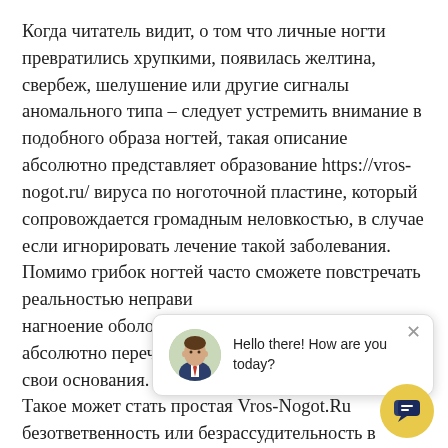Когда читатель видит, о том что личные ногти превратились хрупкими, появилась желтина, свербеж, шелушение или другие сигналы аномального типа – следует устремить внимание в подобного образа ногтей, такая описание абсолютно представляет образование https://vros-nogot.ru/ вируса по ноготочной пластине, который сопровождается громадным неловкостью, в случае если игнорировать лечение такой заболевания. Помимо грибок ногтей часто сможете повстречать реальностью неправи нагноение оболочки к абсолютно перечисле свои основания. Такое может стать простая Vros-Nogot.Ru безответвенность или безрассудительность в публичных помешениях, где правдоподобно
[Figure (other): Chat popup with avatar of a man in suit, close button (×), and message 'Hello there! How are you today?']
[Figure (other): Yellow circular chat button with chat icon at bottom right]